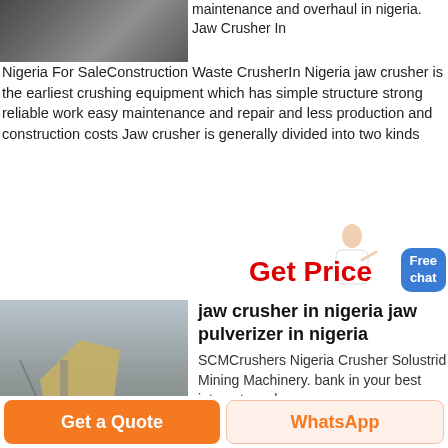[Figure (photo): Industrial machinery / factory interior photo (partial, top cropped)]
maintenance and overhaul in nigeria. Jaw Crusher In Nigeria For SaleConstruction Waste CrusherIn Nigeria jaw crusher is the earliest crushing equipment which has simple structure strong reliable work easy maintenance and repair and less production and construction costs Jaw crusher is generally divided into two kinds
Get Price
[Figure (photo): Jaw crusher machine operating outdoors at a mining/construction site in Nigeria]
jaw crusher in nigeria jaw pulverizer in nigeria
SCMCrushers Nigeria Crusher Solustrid Mining Machinery. bank in your best interest crushers
Get a Quote
WhatsApp